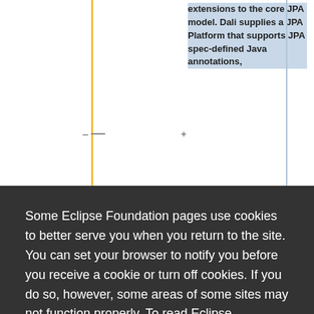[Figure (screenshot): Partial view of an Eclipse IDE tree view panel with a yellow vertical connector line and a right panel showing highlighted text about JPA model. Dali supplies a JPA Platform that supports JPA spec-defined Java annotations.]
Some Eclipse Foundation pages use cookies to better serve you when you return to the site. You can set your browser to notify you before you receive a cookie or turn off cookies. If you do so, however, some areas of some sites may not function properly. To read Eclipse Foundation Privacy Policy
click here.
Decline
Allow cookies
-org.eclipse.jpt.utility.test